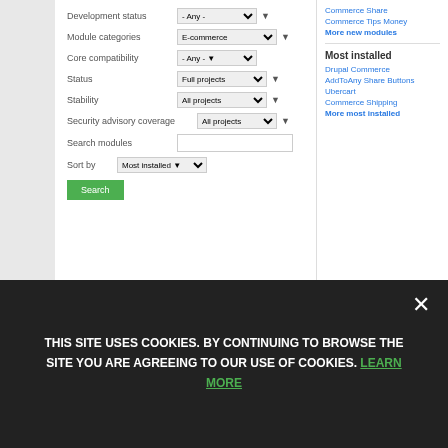[Figure (screenshot): Screenshot of a Drupal module search interface with filter fields (Development status, Module categories: E-commerce, Core compatibility, Status: Full projects, Stability: All projects, Security advisory coverage: All projects, Search modules input, Sort by: Most installed) and a green Search button. Right sidebar shows 'Most installed' section with links: Drupal Commerce, AddToAny Share Buttons, Ubercart, Commerce Shipping, More most installed.]
What Do Customers Need in an E-Commerce Site Above All?
While many aspects are important for online stores
THIS SITE USES COOKIES. BY CONTINUING TO BROWSE THE SITE YOU ARE AGREEING TO OUR USE OF COOKIES. LEARN MORE